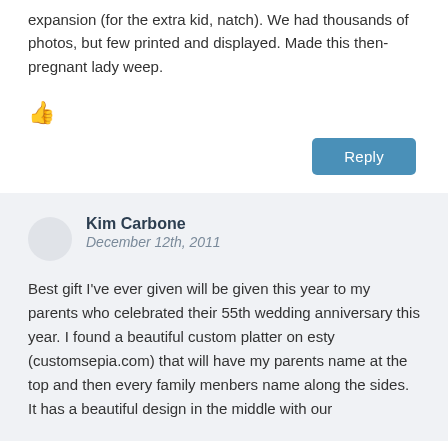expansion (for the extra kid, natch). We had thousands of photos, but few printed and displayed. Made this then-pregnant lady weep.
[Figure (illustration): Thumbs up / like icon in dark gray]
Reply
Kim Carbone
December 12th, 2011
Best gift I've ever given will be given this year to my parents who celebrated their 55th wedding anniversary this year. I found a beautiful custom platter on esty (customsepia.com) that will have my parents name at the top and then every family menbers name along the sides. It has a beautiful design in the middle with our